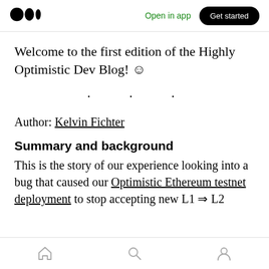Medium logo | Open in app | Get started
Welcome to the first edition of the Highly Optimistic Dev Blog! ☺
· · ·
Author: Kelvin Fichter
Summary and background
This is the story of our experience looking into a bug that caused our Optimistic Ethereum testnet deployment to stop accepting new L1 ⇒ L2